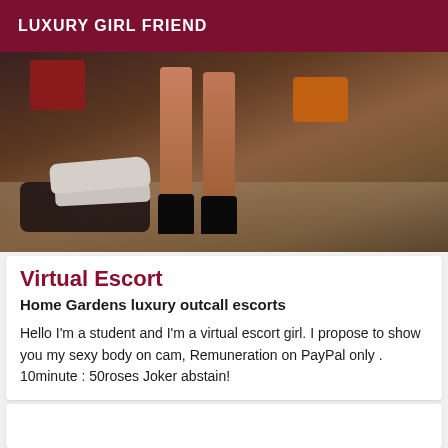LUXURY GIRL FRIEND
[Figure (photo): A person standing in high heels in a cluttered room with shoes and bags on the floor; legs visible from thigh down.]
Virtual Escort
Home Gardens luxury outcall escorts
Hello I'm a student and I'm a virtual escort girl. I propose to show you my sexy body on cam, Remuneration on PayPal only . 10minute : 50roses Joker abstain!